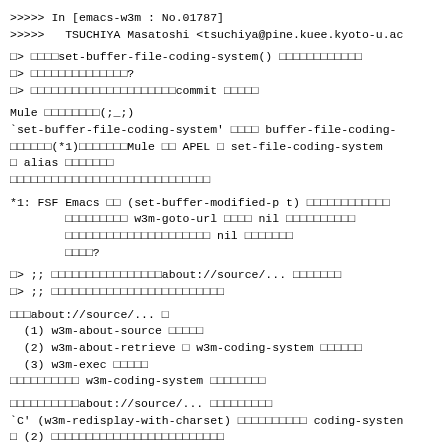>>>>> In [emacs-w3m : No.01787]
>>>>>   TSUCHIYA Masatoshi <tsuchiya@pine.kuee.kyoto-u.ac
□> □□□□set-buffer-file-coding-system() □□□□□□□□□□□□
□> □□□□□□□□□□□□□□?
□> □□□□□□□□□□□□□□□□□□□□□commit □□□□□
Mule □□□□□□□□(;_;)
`set-buffer-file-coding-system' □□□□ buffer-file-coding-
□□□□□□(*1)□□□□□□□Mule □□ APEL □ set-file-coding-system
□ alias □□□□□□□
□□□□□□□□□□□□□□□□□□□□□□□□□□□
*1: FSF Emacs □□ (set-buffer-modified-p t) □□□□□□□□□□□□
        □□□□□□□□□ w3m-goto-url □□□□ nil □□□□□□□□□□
        □□□□□□□□□□□□□□□□□□□□□ nil □□□□□□□
        □□□□?
□> ;; □□□□□□□□□□□□□□□□about://source/... □□□□□□□
□> ;; □□□□□□□□□□□□□□□□□□□□□□□□□
□□□about://source/... □
  (1) w3m-about-source □□□□□
  (2) w3m-about-retrieve □ w3m-coding-system □□□□□□
  (3) w3m-exec □□□□□
□□□□□□□□□□ w3m-coding-system □□□□□□□□
□□□□□□□□□□about://source/... □□□□□□□□□
`C' (w3m-redisplay-with-charset) □□□□□□□□□□ coding-systen
□ (2) □□□□□□□□□□□□□□□□□□□□□□□□□